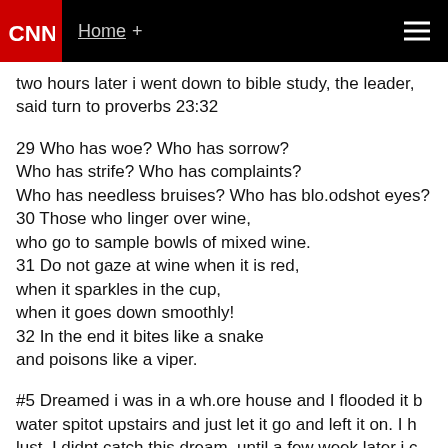CNN  Home +
two hours later i went down to bible study, the leader, said turn to proverbs 23:32
29 Who has woe? Who has sorrow? Who has strife? Who has complaints? Who has needless bruises? Who has blo.odshot eyes? 30 Those who linger over wine, who go to sample bowls of mixed wine. 31 Do not gaze at wine when it is red, when it sparkles in the cup, when it goes down smoothly! 32 In the end it bites like a snake and poisons like a viper.
#5 Dreamed i was in a wh.ore house and I flooded it b water spitot upstairs and just let it go and left it on. I h lust. I didnt catch this dream, until a few week later i c no clue about this dream. i seemed like a random joke letting the water run and flood.